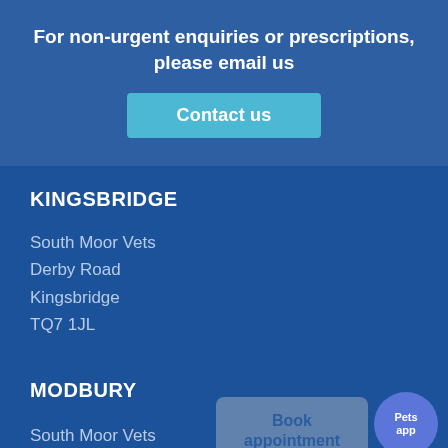For non-urgent enquiries or prescriptions, please email us
Contact us
KINGSBRIDGE
South Moor Vets
Derby Road
Kingsbridge
TQ7 1JL
MODBURY
South Moor Vets
Book appointment
Pets app